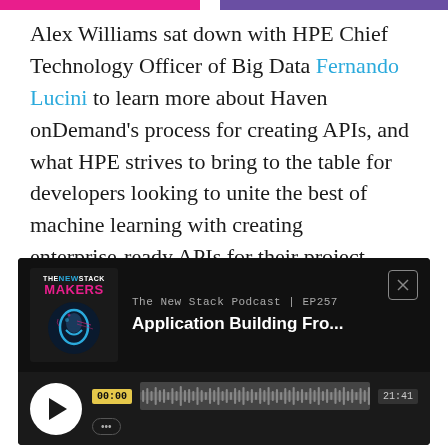Alex Williams sat down with HPE Chief Technology Officer of Big Data Fernando Lucini to learn more about Haven onDemand's process for creating APIs, and what HPE strives to bring to the table for developers looking to unite the best of machine learning with creating enterprise-ready APIs for their project workflow. The interview was held last month at HPE Discover 2016.
[Figure (screenshot): Podcast player widget with dark background showing 'The New Stack Podcast | EP257' and episode title 'Application Building Fro...' with thumbnail of The New Stack Makers logo featuring a glowing head with cloud icon, and audio player controls showing time 00:00 and duration 21:41]